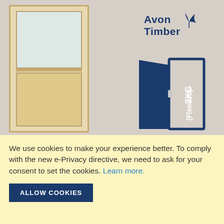[Figure (photo): A wooden pine door with a frosted glass upper panel and a wooden lower panel, displayed against a light beige/grey wall background. An Avon Timber logo appears in the upper right. A blue open-door icon with '2XG (Flemish)' text is shown to the right of the door.]
We use cookies to make your experience better. To comply with the new e-Privacy directive, we need to ask for your consent to set the cookies. Learn more.
ALLOW COOKIES